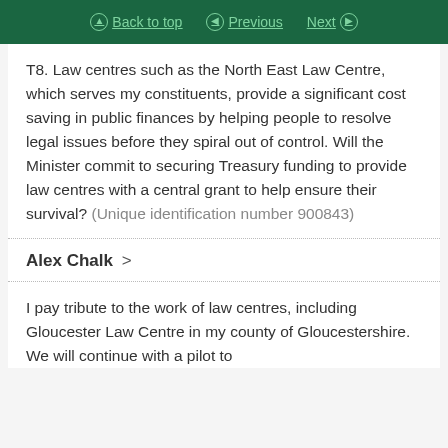Back to top  Previous  Next
T8. Law centres such as the North East Law Centre, which serves my constituents, provide a significant cost saving in public finances by helping people to resolve legal issues before they spiral out of control. Will the Minister commit to securing Treasury funding to provide law centres with a central grant to help ensure their survival? (Unique identification number 900843)
Alex Chalk >
I pay tribute to the work of law centres, including Gloucester Law Centre in my county of Gloucestershire. We will continue with a pilot to